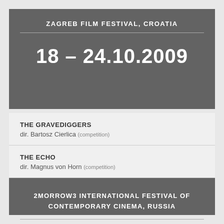ZAGREB FILM FESTIVAL, CROATIA
18 – 24.10.2009
THE GRAVEDIGGERS
dir. Bartosz Cierlica (competition)
THE ECHO
dir. Magnus von Horn (competition)
GLASS TRAP
dir. Paweł Ferdek (competition)
2MORROW3 INTERNATIONAL FESTIVAL OF CONTEMPORARY CINEMA, RUSSIA